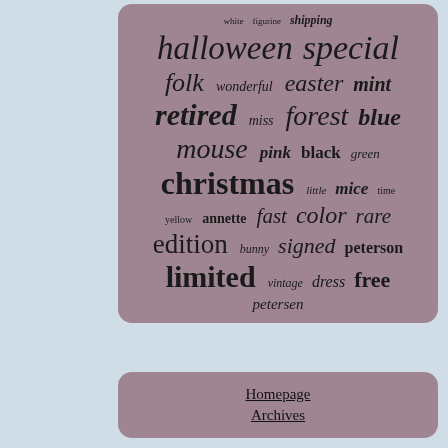[Figure (other): Tag cloud with words: white, figurine, shipping, halloween, special, folk, wonderful, easter, mint, retired, miss, forest, blue, mouse, pink, black, green, christmas, little, mice, time, yellow, annette, fast, color, rare, edition, bunny, signed, peterson, limited, vintage, dress, free, petersen]
Homepage
Archives